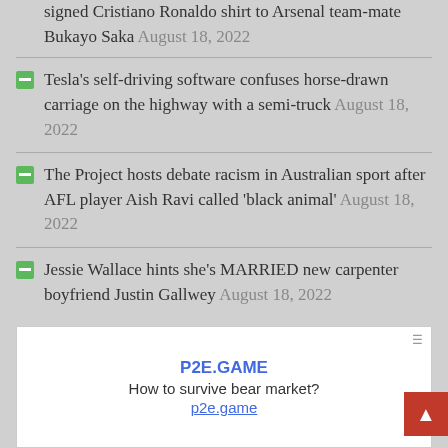signed Cristiano Ronaldo shirt to Arsenal team-mate Bukayo Saka August 18, 2022
Tesla's self-driving software confuses horse-drawn carriage on the highway with a semi-truck August 18, 2022
The Project hosts debate racism in Australian sport after AFL player Aish Ravi called 'black animal' August 18, 2022
Jessie Wallace hints she's MARRIED new carpenter boyfriend Justin Gallwey August 18, 2022
[Figure (other): Advertisement for P2E.GAME with text 'How to survive bear market?' and link p2e.game]